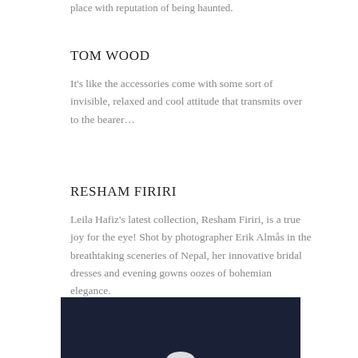place with reputation of being haunted.
TOM WOOD
It's like the accessories come with some sort of invisible, relaxed and cool attitude that transmits over to the bearer…
RESHAM FIRIRI
Leila Hafiz's latest collection, Resham Firiri, is a true joy for the eye! Shot by photographer Erik Almås in the breathtaking sceneries of Nepal, her innovative bridal dresses and evening gowns oozes of bohemian elegance.
[Figure (photo): Dark navy/black background image, partially visible at the bottom of the page, with a partial white circular or arc shape at the bottom center.]